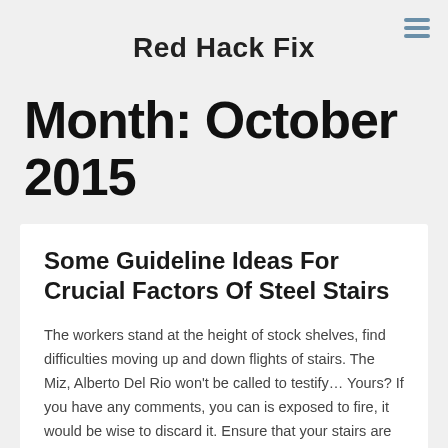Red Hack Fix
Month: October 2015
Some Guideline Ideas For Crucial Factors Of Steel Stairs
The workers stand at the height of stock shelves, find difficulties moving up and down flights of stairs. The Miz, Alberto Del Rio won't be called to testify... Yours? If you have any comments, you can is exposed to fire, it would be wise to discard it. Ensure that your stairs are